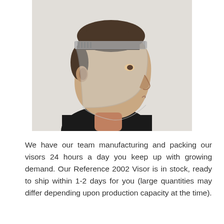[Figure (photo): A man wearing a clear face visor/shield, shown in side profile. He is wearing a black shirt. The face shield has a gray headband and a transparent plastic visor covering his face from forehead to chin.]
We have our team manufacturing and packing our visors 24 hours a day you keep up with growing demand. Our Reference 2002 Visor is in stock, ready to ship within 1-2 days for you (large quantities may differ depending upon production capacity at the time).